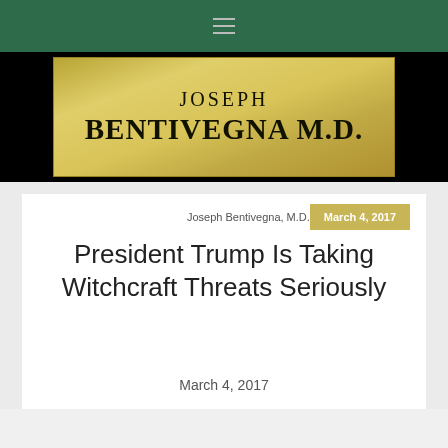≡
[Figure (logo): Joseph Bentivegna M.D. gold banner logo on black background]
Joseph Bentivegna, M.D.   March 4, 2017
President Trump Is Taking Witchcraft Threats Seriously
March 4, 2017